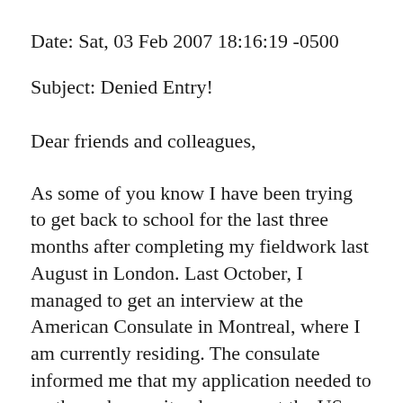Date: Sat, 03 Feb 2007 18:16:19 -0500
Subject: Denied Entry!
Dear friends and colleagues,
As some of you know I have been trying to get back to school for the last three months after completing my fieldwork last August in London. Last October, I managed to get an interview at the American Consulate in Montreal, where I am currently residing. The consulate informed me that my application needed to go through security clearance at the US State Department. My